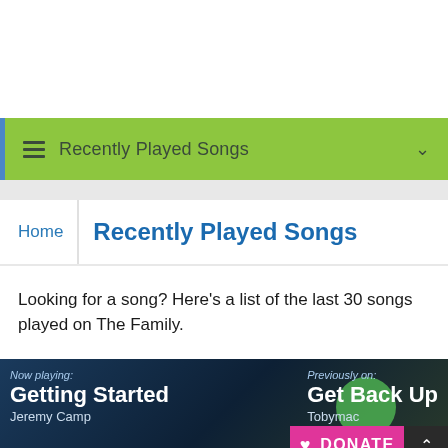Recently Played Songs
Recently Played Songs
Looking for a song? Here's a list of the last 30 songs played on The Family.
[Figure (screenshot): Music player widget showing now playing 'Getting Started' by Jeremy Camp and previously on 'Get Back Up' by Tobymac, with a pink DONATE button overlay.]